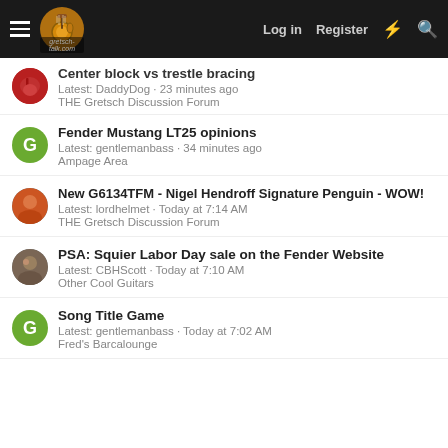gretsch-talk.com | Log in | Register
Center block vs trestle bracing
Latest: DaddyDog · 23 minutes ago
THE Gretsch Discussion Forum
Fender Mustang LT25 opinions
Latest: gentlemanbass · 34 minutes ago
Ampage Area
New G6134TFM - Nigel Hendroff Signature Penguin - WOW!
Latest: lordhelmet · Today at 7:14 AM
THE Gretsch Discussion Forum
PSA: Squier Labor Day sale on the Fender Website
Latest: CBHScott · Today at 7:10 AM
Other Cool Guitars
Song Title Game
Latest: gentlemanbass · Today at 7:02 AM
Fred's Barcalounge